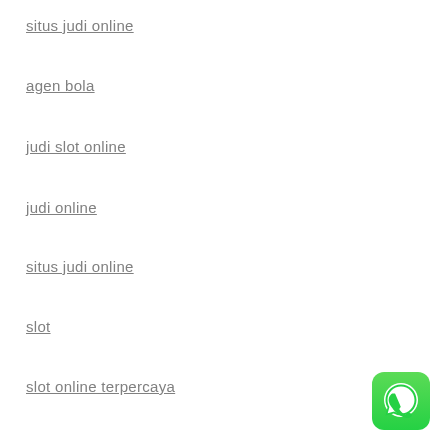situs judi online
agen bola
judi slot online
judi online
situs judi online
slot
slot online terpercaya
[Figure (logo): WhatsApp icon button - green rounded square with white phone/chat icon]